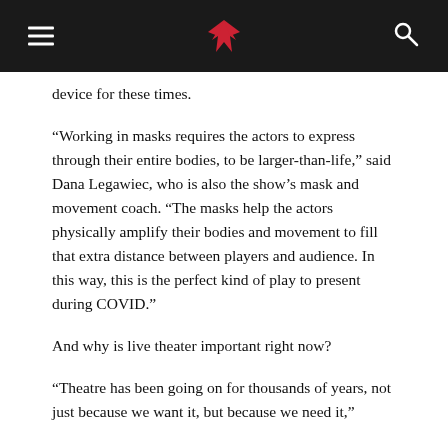[Navigation header with hamburger menu, bird logo, and search icon]
device for these times.
“Working in masks requires the actors to express through their entire bodies, to be larger-than-life,” said Dana Legawiec, who is also the show’s mask and movement coach. “The masks help the actors physically amplify their bodies and movement to fill that extra distance between players and audience. In this way, this is the perfect kind of play to present during COVID.”
And why is live theater important right now?
“Theatre has been going on for thousands of years, not just because we want it, but because we need it,”